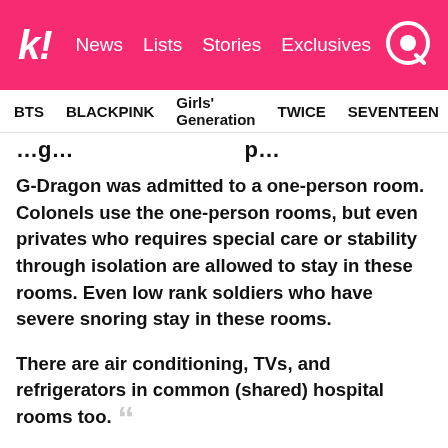k! News Lists Stories Exclusives
BTS   BLACKPINK   Girls' Generation   TWICE   SEVENTEEN
G-Dragon was admitted to a one-person room. Colonels use the one-person rooms, but even privates who requires special care or stability through isolation are allowed to stay in these rooms. Even low rank soldiers who have severe snoring stay in these rooms.
There are air conditioning, TVs, and refrigerators in common (shared) hospital rooms too.